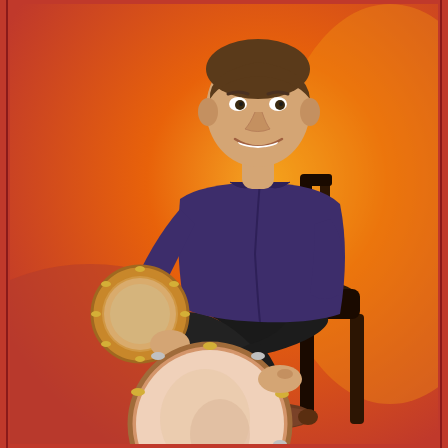[Figure (photo): A man wearing a dark navy/purple button-up shirt and black trousers sits on a dark wooden chair against a vivid orange-to-yellow gradient background. He is smiling and holding a small tambourine in one hand. In front of him on the floor is a large frame drum (riq or tar style) with a natural skin head and metal jingles around the frame. He wears brown leather shoes. The overall composition is a professional music promotional photo.]